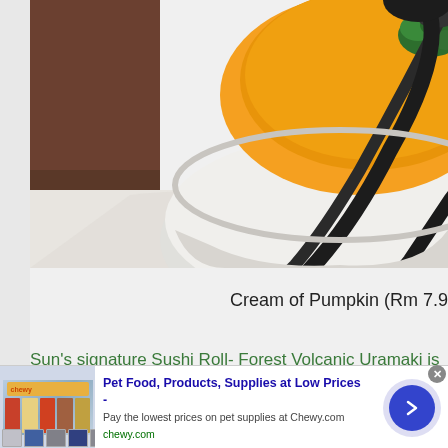[Figure (photo): Close-up photo of a white ceramic bowl of orange cream of pumpkin soup topped with green parsley, with a dark spoon resting beside it on a white marble surface, brown background visible on left.]
Cream of Pumpkin (Rm 7.9
Sun's signature Sushi Roll- Forest Volcanic Uramaki is served with
[Figure (screenshot): Advertisement banner for Chewy.com pet food and supplies. Headline: 'Pet Food, Products, Supplies at Low Prices -'. Body: 'Pay the lowest prices on pet supplies at Chewy.com'. URL: chewy.com. Features product images on left and a blue circular arrow button on right. Close button (X) visible.]